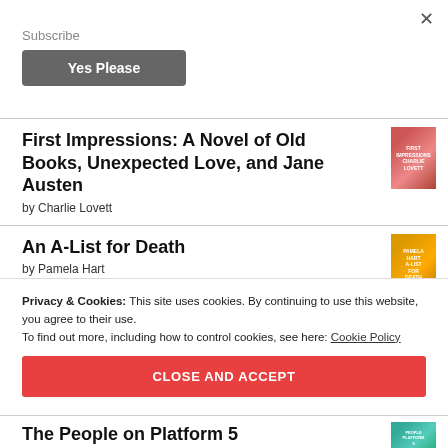×
Subscribe
Yes Please
First Impressions: A Novel of Old Books, Unexpected Love, and Jane Austen
by Charlie Lovett
An A-List for Death
by Pamela Hart
Privacy & Cookies: This site uses cookies. By continuing to use this website, you agree to their use.
To find out more, including how to control cookies, see here: Cookie Policy
CLOSE AND ACCEPT
The People on Platform 5